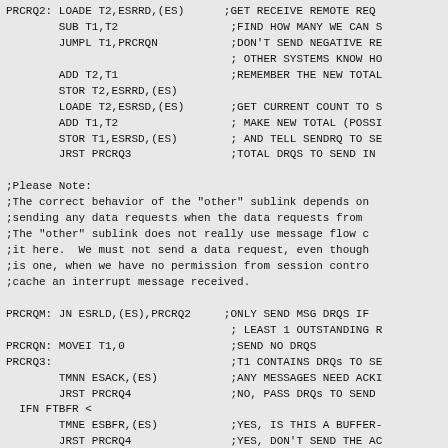Assembly language source code listing with inline comments for a network/data request processing routine. Labels: PRCRQ2, PRCRQM, PRCRQN, PRCRQ3. Instructions include LOADE, SUB, JUMPL, ADD, STOR, JRST, JN, MOVEI, TMNN, TMNE with associated comments about remote receive requests, data queue management, buffer and ACK handling.